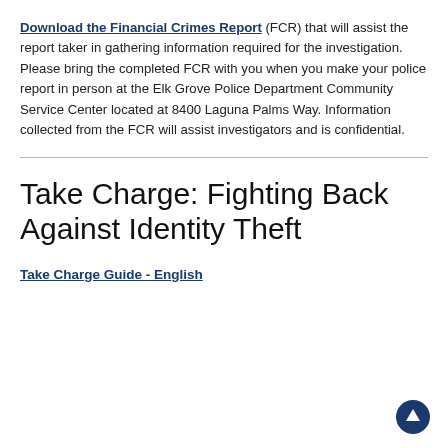Download the Financial Crimes Report (FCR) that will assist the report taker in gathering information required for the investigation. Please bring the completed FCR with you when you make your police report in person at the Elk Grove Police Department Community Service Center located at 8400 Laguna Palms Way. Information collected from the FCR will assist investigators and is confidential.
Take Charge: Fighting Back Against Identity Theft
Take Charge Guide - English